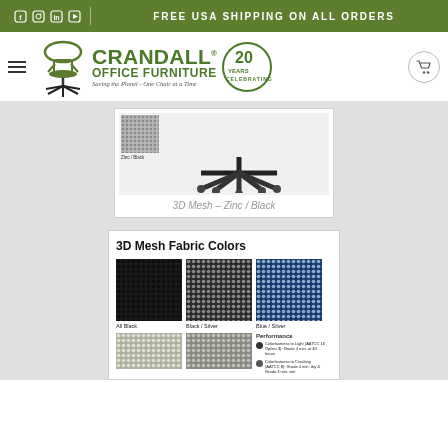FREE USA SHIPPING ON ALL ORDERS
[Figure (logo): Crandall Office Furniture logo with chair icon and 20 Years Celebrating badge]
[Figure (photo): Office chair base image - 3D Mesh Zinc/Black color swatch and star base with casters]
3D Mesh – Zinc / Black
3D Mesh Fabric Colors
[Figure (photo): All Black 3D mesh fabric swatch]
All Black
[Figure (photo): Black / Silver 3D mesh fabric swatch]
Black / Silver
[Figure (photo): Blue / Silver 3D mesh fabric swatch]
Blue / Silver
Performance
Colorfastness to Light (AATCC 16 Option 3): Grade 4 min. at 40 hours
Colorfastness to Crocking (AATCC 8): Grade 4 min. dry & Grade 3 min. wet
[Figure (photo): Additional mesh fabric swatch bottom left]
[Figure (photo): Additional mesh fabric swatch bottom center]